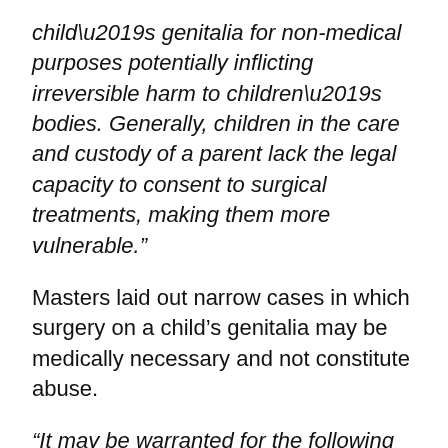child’s genitalia for non-medical purposes potentially inflicting irreversible harm to children’s bodies. Generally, children in the care and custody of a parent lack the legal capacity to consent to surgical treatments, making them more vulnerable.”
Masters laid out narrow cases in which surgery on a child’s genitalia may be medically necessary and not constitute abuse.
“It may be warranted for the following conditions including, but not limited to, a child whose body parts have been affected by illness or trauma; who is born with a medically